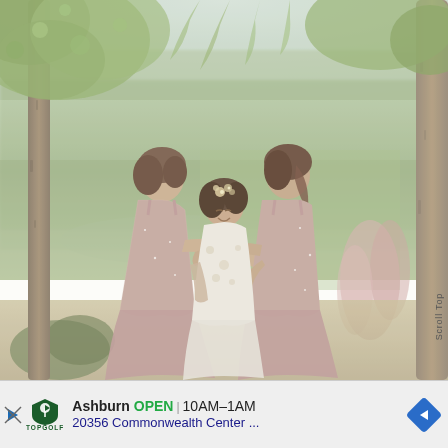[Figure (photo): Three women in a group hug outdoors at what appears to be a wedding. The central woman is the bride wearing a white floral dress and a floral hair accessory. The two women on either side are bridesmaids in blush/dusty rose sparkly dresses. They are standing in a natural setting with trees, greenery, and pink pampas grass in the background. The photo has a soft, romantic, hazy tone.]
Scroll To Top
Ashburn OPEN 10AM–1AM 20356 Commonwealth Center ...